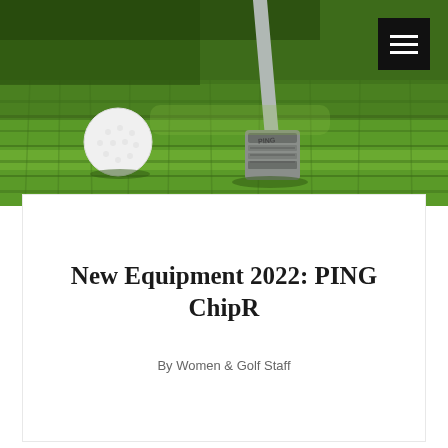[Figure (photo): A golf club iron (PING branded) resting on green grass next to a white golf ball, viewed from close up. A black hamburger menu icon button is visible in the top-right corner.]
New Equipment 2022: PING ChipR
By Women & Golf Staff